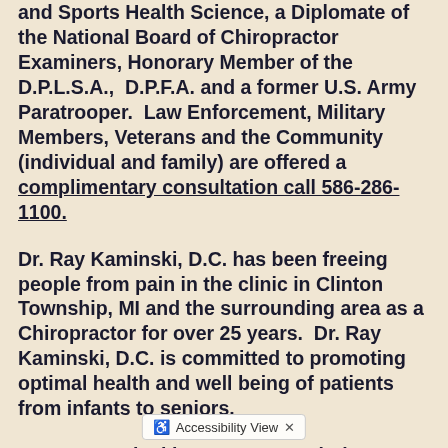and Sports Health Science, a Diplomate of the National Board of Chiropractor Examiners, Honorary Member of the D.P.L.S.A.,  D.P.F.A. and a former U.S. Army Paratrooper.  Law Enforcement, Military Members, Veterans and the Community (individual and family) are offered a complimentary consultation call 586-286-1100.
Dr. Ray Kaminski, D.C. has been freeing people from pain in the clinic in Clinton Township, MI and the surrounding area as a Chiropractor for over 25 years.  Dr. Ray Kaminski, D.C. is committed to promoting optimal health and well being of patients from infants to seniors.
Dr. Ray Kaminski, D.C. uses a 'whole person approach'. This approach to wellness means to make whatever spinal adjustments, interventions and lifestyle change the